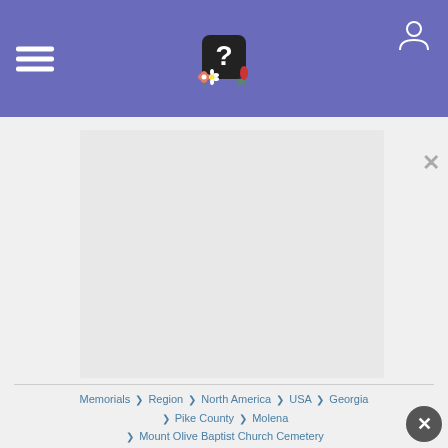FindAGrave-style website header with hamburger menu, logo with question mark and flowers, and user icon
[Figure (photo): Light gray image placeholder rectangle representing a cemetery or memorial photo]
× (close button top right)
Memorials ❯ Region ❯ North America ❯ USA ❯ Georgia ❯ Pike County ❯ Molena ❯ Mount Olive Baptist Church Cemetery
× (close circle button bottom right)